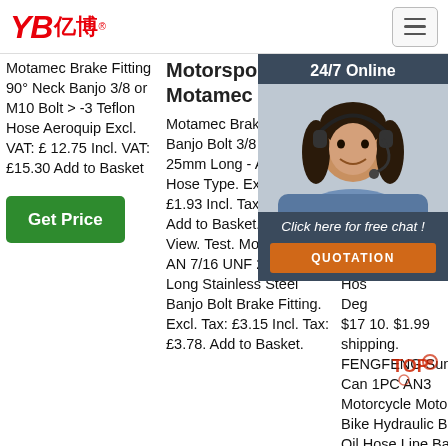YB亿博® [logo] [hamburger menu]
Motamec Brake Fitting 90° Neck Banjo 3/8 or M10 Bolt > -3 Teflon Hose Aeroquip Excl. VAT: £ 12.75 Incl. VAT: £15.30 Add to Basket
Get Price
Motorsport ... - Motamec
Motamec Brake Fitting Banjo Bolt 3/8 UNF x 25mm Long - Aeroquip Hose Type. Excl. Tax: £1.93 Incl. Tax: £2.32. Add to Basket. . Quick View. Test. Motamec -4 AN 7/16 UNF 25mm Long Stainless Steel Banjo Bolt Brake Fitting. Excl. Tax: £3.15 Incl. Tax: £3.78. Add to Basket.
Lines & Fittings
Sur Das 28 4 Sta Swi Eye Hos PTF Hos Deg $17 10. $1.99 shipping. FENGFENG Sun Can 1PC AN3 Motorcycle Motor Bike Hydraulic Brake Oil Hose Line Banjo Fitting
[Figure (photo): Customer service representative (woman with headset) with 24/7 Online chat overlay, Click here for free chat! button, and QUOTATION button]
[Figure (logo): TOP red logo watermark overlay]